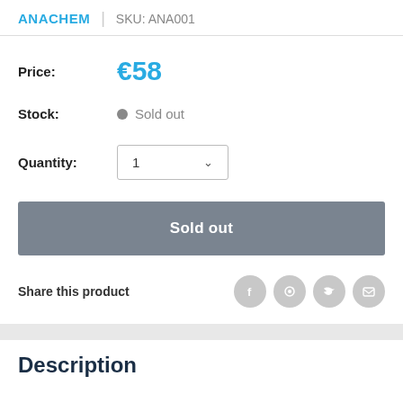ANACHEM | SKU: ANA001
Price: €58
Stock: Sold out
Quantity: 1
Sold out
Share this product
Description